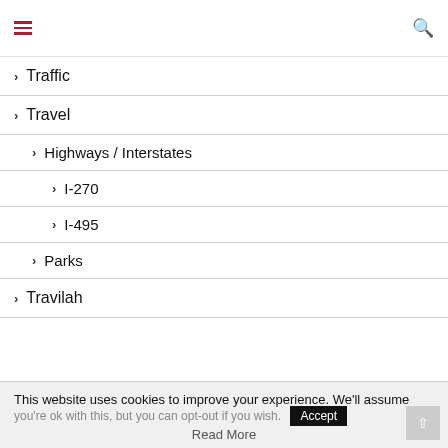Navigation menu header with hamburger icon and search icon
> Traffic
> Travel
> Highways / Interstates
> I-270
> I-495
> Parks
> Travilah
This website uses cookies to improve your experience. We'll assume you're ok with this, but you can opt-out if you wish. Accept
Read More